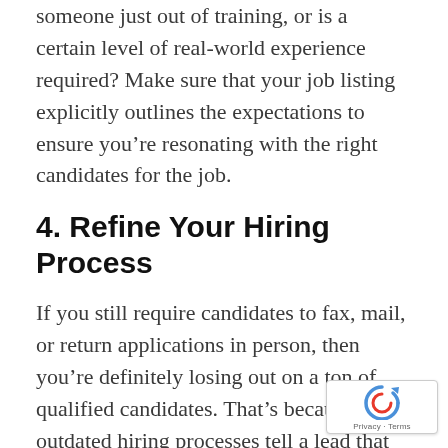someone just out of training, or is a certain level of real-world experience required? Make sure that your job listing explicitly outlines the expectations to ensure you’re resonating with the right candidates for the job.
4. Refine Your Hiring Process
If you still require candidates to fax, mail, or return applications in person, then you’re definitely losing out on a ton of qualified candidates. That’s because outdated hiring processes tell a lead that your practice is outdated as well — whether or not that’s actually true.
By looking at your hiring process, identify places where you can improve, and